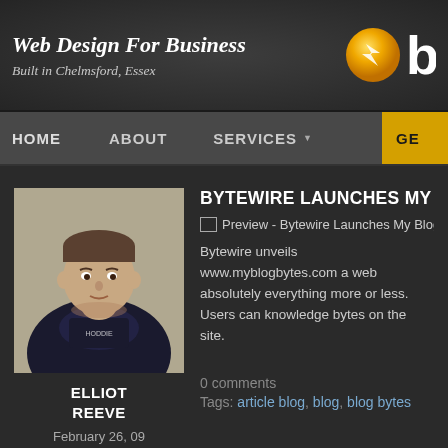Web Design For Business
Built in Chelmsford, Essex
HOME   ABOUT   SERVICES   GE
[Figure (photo): Portrait photo of Elliot Reeve, a young man in a dark hoodie]
ELLIOT
REEVE
February 26, 09
BYTEWIRE LAUNCHES MY B
[Figure (other): Preview image placeholder - Bytewire Launches My Blog]
Bytewire unveils www.myblogbytes.com a web absolutely everything more or less. Users can knowledge bytes on the site.
0 comments
Tags: article blog, blog, blog bytes